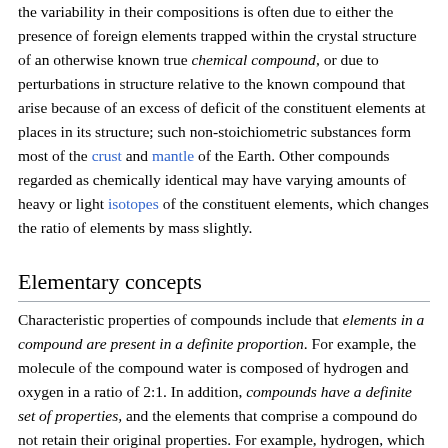the variability in their compositions is often due to either the presence of foreign elements trapped within the crystal structure of an otherwise known true chemical compound, or due to perturbations in structure relative to the known compound that arise because of an excess of deficit of the constituent elements at places in its structure; such non-stoichiometric substances form most of the crust and mantle of the Earth. Other compounds regarded as chemically identical may have varying amounts of heavy or light isotopes of the constituent elements, which changes the ratio of elements by mass slightly.
Elementary concepts
Characteristic properties of compounds include that elements in a compound are present in a definite proportion. For example, the molecule of the compound water is composed of hydrogen and oxygen in a ratio of 2:1. In addition, compounds have a definite set of properties, and the elements that comprise a compound do not retain their original properties. For example, hydrogen, which is combustible and non-supportive of combustion, combines with oxygen, which is non-combustible and supportive of combustion, to